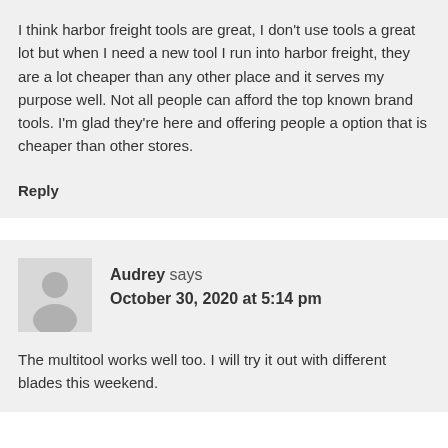I think harbor freight tools are great, I don't use tools a great lot but when I need a new tool I run into harbor freight, they are a lot cheaper than any other place and it serves my purpose well. Not all people can afford the top known brand tools. I'm glad they're here and offering people a option that is cheaper than other stores.
Reply
Audrey says
October 30, 2020 at 5:14 pm
The multitool works well too. I will try it out with different blades this weekend.